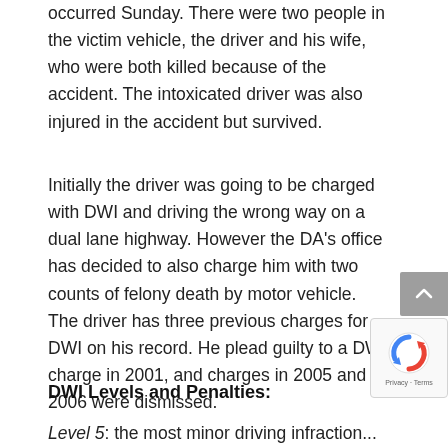occurred Sunday. There were two people in the victim vehicle, the driver and his wife, who were both killed because of the accident. The intoxicated driver was also injured in the accident but survived.
Initially the driver was going to be charged with DWI and driving the wrong way on a dual lane highway. However the DA's office has decided to also charge him with two counts of felony death by motor vehicle. The driver has three previous charges for DWI on his record. He plead guilty to a DWI charge in 2001, and charges in 2005 and 2006 were dismissed.
DWI Levels and Penalties:
Level 5: the most minor driving infraction...